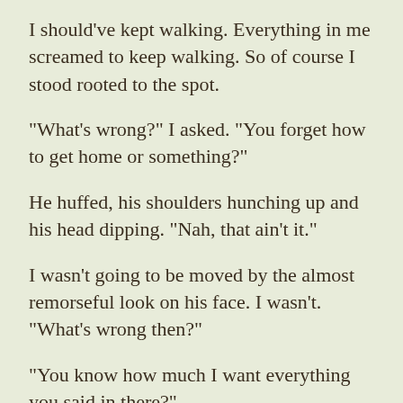I should've kept walking. Everything in me screamed to keep walking. So of course I stood rooted to the spot.
“What’s wrong?” I asked. “You forget how to get home or something?”
He huffed, his shoulders hunching up and his head dipping. “Nah, that ain’t it.”
I wasn’t going to be moved by the almost remorseful look on his face. I wasn’t. “What’s wrong then?”
“You know how much I want everything you said in there?”
Well, shit. If he wanted it, why weren’t we doing it? “Not a good enough reason.”